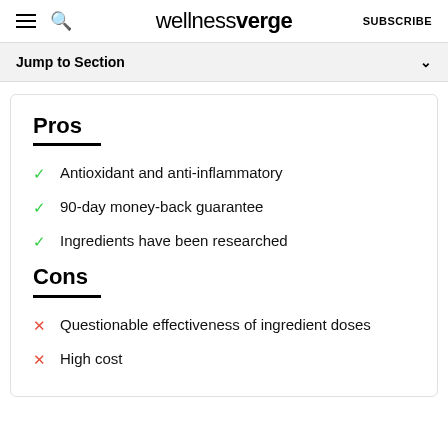wellnessverge  SUBSCRIBE
Jump to Section
Pros
Antioxidant and anti-inflammatory
90-day money-back guarantee
Ingredients have been researched
Cons
Questionable effectiveness of ingredient doses
High cost